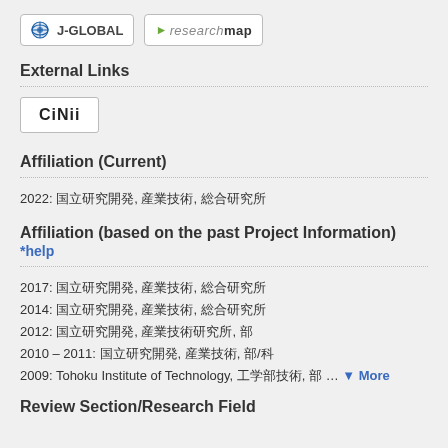[Figure (logo): J-GLOBAL logo button and researchmap logo button side by side]
External Links
[Figure (logo): CiNii logo button]
Affiliation (Current)
2022: [Japanese text], [Japanese text], [Japanese text]
Affiliation (based on the past Project Information) *help
2017: [Japanese text], [Japanese text], [Japanese text]
2014: [Japanese text], [Japanese text], [Japanese text]
2012: [Japanese text], [Japanese text], [Japanese text]
2010 – 2011: [Japanese text], [Japanese text], [Japanese text]
2009: Tohoku Institute of Technology, [Japanese text], [Japanese text] … More
Review Section/Research Field